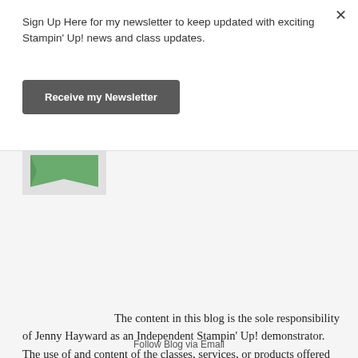Sign Up Here for my newsletter to keep updated with exciting Stampin' Up! news and class updates.
Receive my Newsletter
[Figure (logo): Green flag/banner logo icon for Stampin Up demonstrator]
The content in this blog is the sole responsibility of Jenny Hayward as an Independent Stampin' Up! demonstrator. The use of and content of the classes, services, or products offered herein is not endorsed by Stampin Up!® All content, including designs, concepts, text, and photographs are COPYRIGHT © Jenny Hayward.
Follow Blog via Email